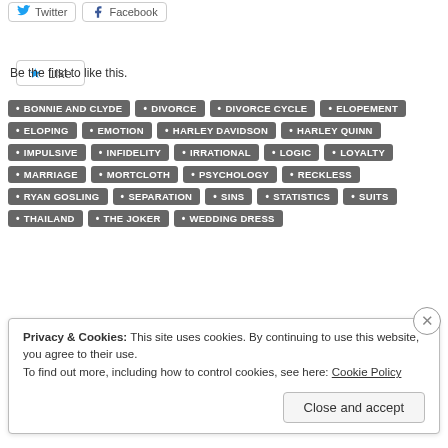[Figure (screenshot): Twitter and Facebook social share buttons]
[Figure (screenshot): Like button with blue star icon]
Be the first to like this.
BONNIE AND CLYDE
DIVORCE
DIVORCE CYCLE
ELOPEMENT
ELOPING
EMOTION
HARLEY DAVIDSON
HARLEY QUINN
IMPULSIVE
INFIDELITY
IRRATIONAL
LOGIC
LOYALTY
MARRIAGE
MORTCLOTH
PSYCHOLOGY
RECKLESS
RYAN GOSLING
SEPARATION
SINS
STATISTICS
SUITS
THAILAND
THE JOKER
WEDDING DRESS
Privacy & Cookies: This site uses cookies. By continuing to use this website, you agree to their use.
To find out more, including how to control cookies, see here: Cookie Policy
Close and accept